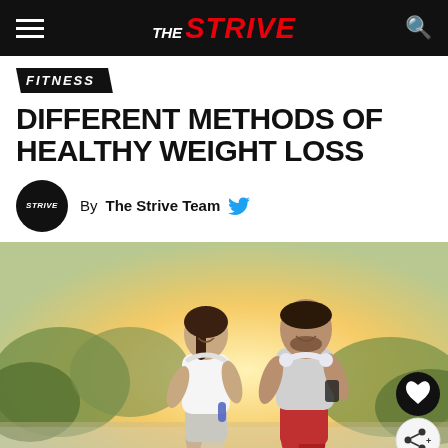THE STRIVE
FITNESS
DIFFERENT METHODS OF HEALTHY WEIGHT LOSS
By The Strive Team
[Figure (photo): A man and woman jogging outdoors, smiling, wearing headphones. The woman is in a white crop top with a water bottle; the man is in a grey t-shirt with headphones around his neck. Outdoor sunny background with trees.]